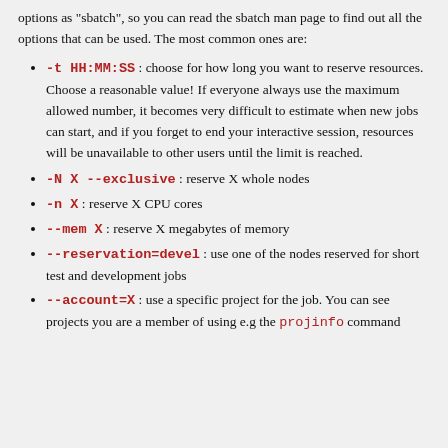options as "sbatch", so you can read the sbatch man page to find out all the options that can be used. The most common ones are:
-t HH:MM:SS : choose for how long you want to reserve resources. Choose a reasonable value! If everyone always use the maximum allowed number, it becomes very difficult to estimate when new jobs can start, and if you forget to end your interactive session, resources will be unavailable to other users until the limit is reached.
-N X --exclusive : reserve X whole nodes
-n X : reserve X CPU cores
--mem X : reserve X megabytes of memory
--reservation=devel : use one of the nodes reserved for short test and development jobs
--account=X : use a specific project for the job. You can see projects you are a member of using e.g the projinfo command